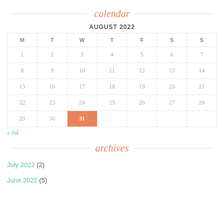calendar
| M | T | W | T | F | S | S |
| --- | --- | --- | --- | --- | --- | --- |
| 1 | 2 | 3 | 4 | 5 | 6 | 7 |
| 8 | 9 | 10 | 11 | 12 | 13 | 14 |
| 15 | 16 | 17 | 18 | 19 | 20 | 21 |
| 22 | 23 | 24 | 25 | 26 | 27 | 28 |
| 29 | 30 | 31 |  |  |  |  |
« Jul
archives
July 2022 (2)
June 2022 (5)